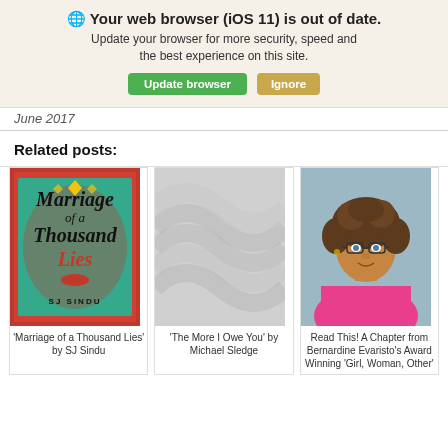🌐 Your web browser (iOS 11) is out of date. Update your browser for more security, speed and the best experience on this site. [Update browser] [Ignore]
June 2017
Related posts:
[Figure (photo): Book cover: 'Marriage of a Thousand Lies' by SJ Sindu — red decorative cover with teal lettering in calligraphic style]
'Marriage of a Thousand Lies' by SJ Sindu
[Figure (photo): Gray placeholder image with subtle wave/swirl pattern]
'The More I Owe You' by Michael Sledge
[Figure (photo): Author photo: Bernardine Evaristo, a woman with curly brown hair and glasses, wearing a pink floral top]
Read This! A Chapter from Bernardine Evaristo's Award Winning 'Girl, Woman, Other'